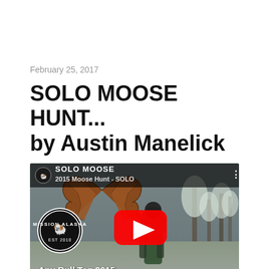February 25, 2017
SOLO MOOSE HUNT... by Austin Manelick
[Figure (screenshot): YouTube video thumbnail for '2015 Moose Hunt - SOLO' featuring a man holding moose antlers in a snowy winter landscape, with Mission Alaska logo badges, a red YouTube play button in the center, and text reading 'Any Bull Tag 2015' at the bottom.]